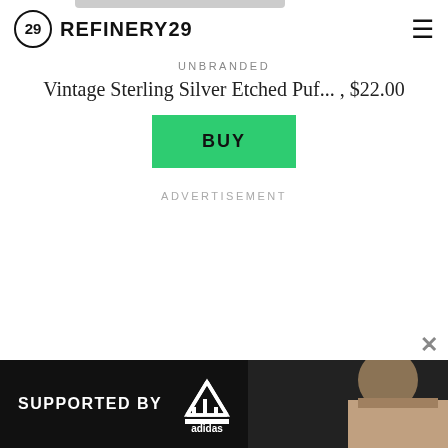REFINERY29
UNBRANDED
Vintage Sterling Silver Etched Puf... , $22.00
[Figure (other): Green BUY button]
ADVERTISEMENT
[Figure (other): Advertisement banner: SUPPORTED BY adidas with athlete photo]